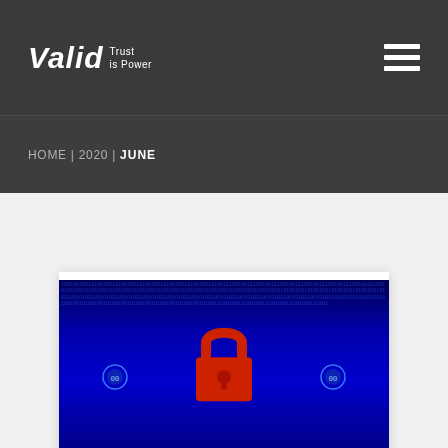Valid Trust is Power
HOME | 2020 | JUNE
[Figure (photo): Cybersecurity image showing a large red padlock over a dark blue digital binary code background, with two small blue glowing lock icons on either side]